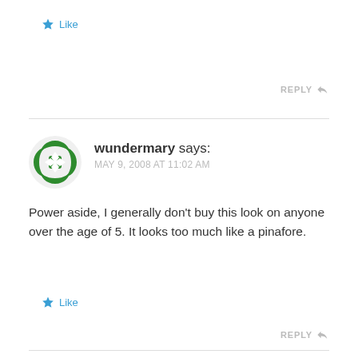Like
REPLY
[Figure (illustration): Green decorative avatar icon for user wundermary]
wundermary says:
MAY 9, 2008 AT 11:02 AM
Power aside, I generally don't buy this look on anyone over the age of 5. It looks too much like a pinafore.
Like
REPLY